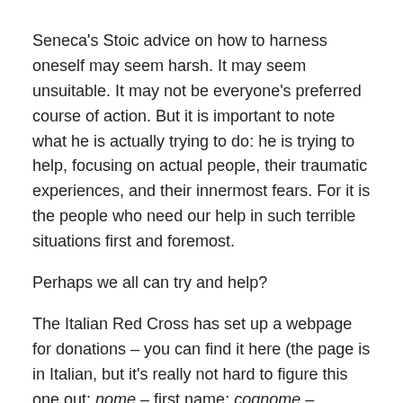Seneca's Stoic advice on how to harness oneself may seem harsh. It may seem unsuitable. It may not be everyone's preferred course of action. But it is important to note what he is actually trying to do: he is trying to help, focusing on actual people, their traumatic experiences, and their innermost fears. For it is the people who need our help in such terrible situations first and foremost.
Perhaps we all can try and help?
The Italian Red Cross has set up a webpage for donations – you can find it here (the page is in Italian, but it's really not hard to figure this one out: nome – first name; cognome – surname; nazione – nationality; indirizzo – address; CAP – post code; importo – amount):
Terremoto Centro Italia